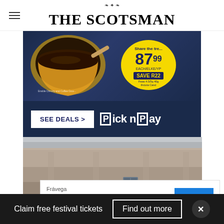THE SCOTSMAN
[Figure (photo): Pick n Pay advertisement showing a coffee cup with price badge 87.99, SAVE R22, and SEE DEALS button with Pick n Pay logo on dark blue background]
[Figure (photo): Photograph of a historic stone building facade shot from below looking up at an angle]
[Figure (infographic): Frávega advertisement overlay: 'Sumate A La Familia Frávega' with ABRIR button]
Claim free festival tickets
Find out more